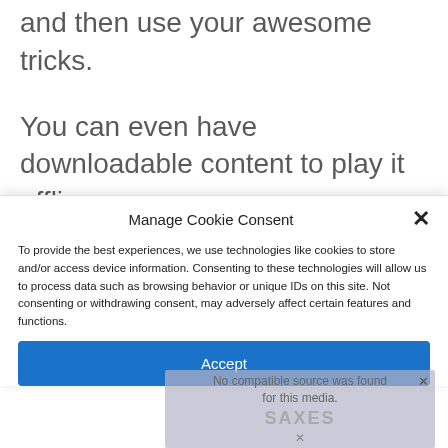and then use your awesome tricks.
You can even have downloadable content to play it offline.
Together with such advantages, Rocket league is
Manage Cookie Consent
To provide the best experiences, we use technologies like cookies to store and/or access device information. Consenting to these technologies will allow us to process data such as browsing behavior or unique IDs on this site. Not consenting or withdrawing consent, may adversely affect certain features and functions.
Accept
[Figure (screenshot): Video player placeholder showing 'No compatible source was found for this media.' with a SAXES logo watermark and a close button]